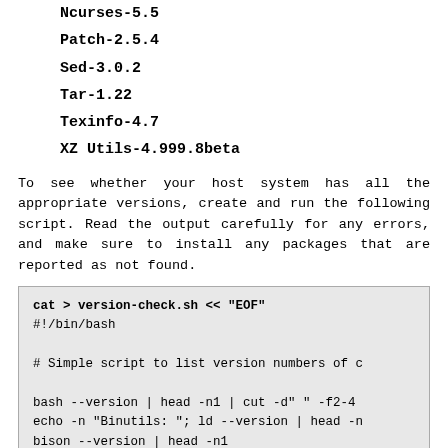Ncurses-5.5
Patch-2.5.4
Sed-3.0.2
Tar-1.22
Texinfo-4.7
XZ Utils-4.999.8beta
To see whether your host system has all the appropriate versions, create and run the following script. Read the output carefully for any errors, and make sure to install any packages that are reported as not found.
cat > version-check.sh << "EOF"
#!/bin/bash

# Simple script to list version numbers of c

bash --version | head -n1 | cut -d" " -f2-4
echo -n "Binutils: "; ld --version | head -n
bison --version | head -n1